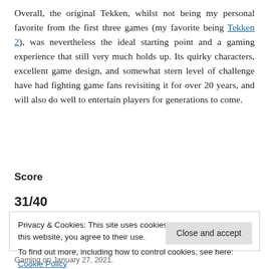Overall, the original Tekken, whilst not being my personal favorite from the first three games (my favorite being Tekken 2), was nevertheless the ideal starting point and a gaming experience that still very much holds up. Its quirky characters, excellent game design, and somewhat stern level of challenge have had fighting game fans revisiting it for over 20 years, and will also do well to entertain players for generations to come.
Score
31/40
Privacy & Cookies: This site uses cookies. By continuing to use this website, you agree to their use.
To find out more, including how to control cookies, see here: Cookie Policy
Gaming on January 27, 2021.